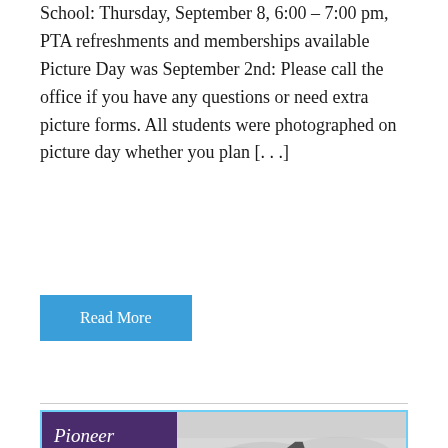School: Thursday, September 8, 6:00 – 7:00 pm, PTA refreshments and memberships available Picture Day was September 2nd: Please call the office if you have any questions or need extra picture forms. All students were photographed on picture day whether you plan [. . .]
Read More
[Figure (illustration): Pioneer Paw Prints Newsletter banner image. Left side: purple background with white italic text 'Pioneer Paw Prints Newsletter' and a cartoon lion/bear mascot at bottom. Right side: pencil sketch drawing of a schoolhouse building.]